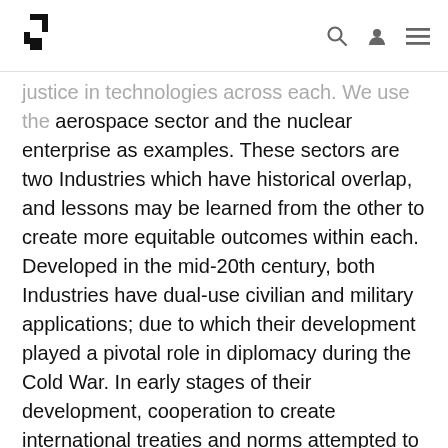[Logo] [search icon] [user icon] [menu icon]
justice in technologies across each. We use the aerospace sector and the nuclear enterprise as examples. These sectors are two Industries which have historical overlap, and lessons may be learned from the other to create more equitable outcomes within each. Developed in the mid-20th century, both Industries have dual-use civilian and military applications; due to which their development played a pivotal role in diplomacy during the Cold War. In early stages of their development, cooperation to create international treaties and norms attempted to set standards for civilian access and use of both